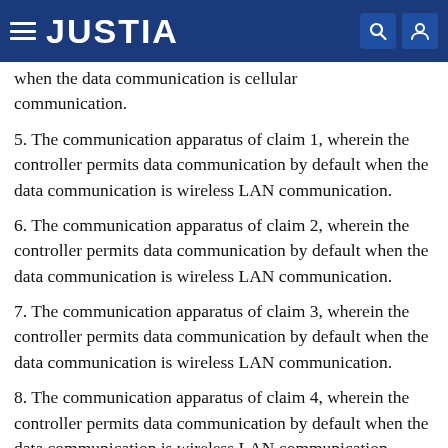JUSTIA
when the data communication is cellular communication.
5. The communication apparatus of claim 1, wherein the controller permits data communication by default when the data communication is wireless LAN communication.
6. The communication apparatus of claim 2, wherein the controller permits data communication by default when the data communication is wireless LAN communication.
7. The communication apparatus of claim 3, wherein the controller permits data communication by default when the data communication is wireless LAN communication.
8. The communication apparatus of claim 4, wherein the controller permits data communication by default when the data communication is wireless LAN communication.